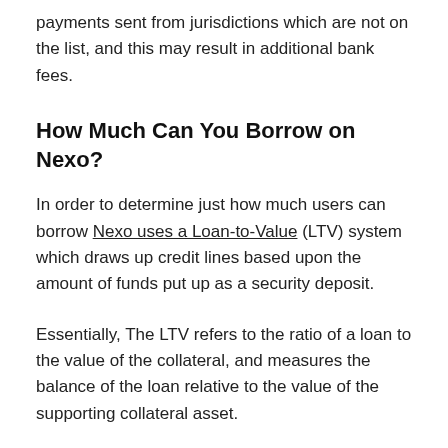payments sent from jurisdictions which are not on the list, and this may result in additional bank fees.
How Much Can You Borrow on Nexo?
In order to determine just how much users can borrow Nexo uses a Loan-to-Value (LTV) system which draws up credit lines based upon the amount of funds put up as a security deposit.
Essentially, The LTV refers to the ratio of a loan to the value of the collateral, and measures the balance of the loan relative to the value of the supporting collateral asset.